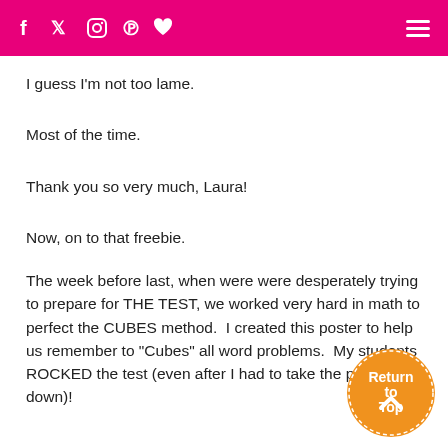f  t  [instagram]  p  [heart]  [menu]
I guess I'm not too lame.
Most of the time.
Thank you so very much, Laura!
Now, on to that freebie.
The week before last, when were were desperately trying to prepare for THE TEST, we worked very hard in math to perfect the CUBES method.  I created this poster to help us remember to "Cubes" all word problems.  My students ROCKED the test (even after I had to take the poster down)!
[Figure (illustration): Orange circular 'Return to Top' badge with an upward arrow]